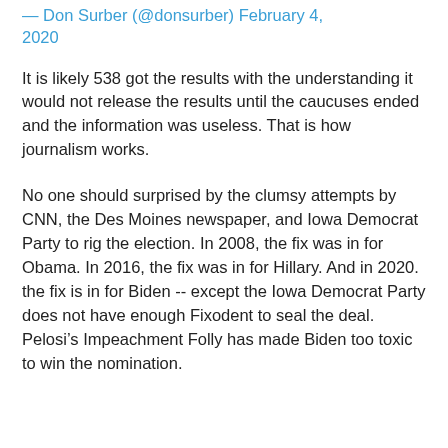— Don Surber (@donsurber) February 4, 2020
It is likely 538 got the results with the understanding it would not release the results until the caucuses ended and the information was useless. That is how journalism works.
No one should surprised by the clumsy attempts by CNN, the Des Moines newspaper, and Iowa Democrat Party to rig the election. In 2008, the fix was in for Obama. In 2016, the fix was in for Hillary. And in 2020. the fix is in for Biden -- except the Iowa Democrat Party does not have enough Fixodent to seal the deal. Pelosi’s Impeachment Folly has made Biden too toxic to win the nomination.